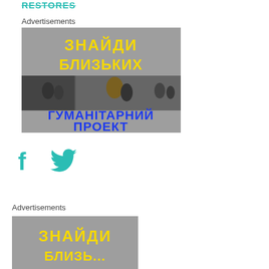RESTORES
Advertisements
[Figure (photo): Ukrainian humanitarian project advertisement banner with Cyrillic text 'ЗНАЙДИ БЛИЗЬКИХ' in yellow and 'ГУМАНІТАРНИЙ ПРОЕКТ' in blue on grey background, with photos of people evacuating]
[Figure (other): Facebook and Twitter social media icons in teal/green color]
Advertisements
[Figure (photo): Partial view of same Ukrainian humanitarian project advertisement banner with Cyrillic text 'ЗНАЙДИ' in yellow on grey background]